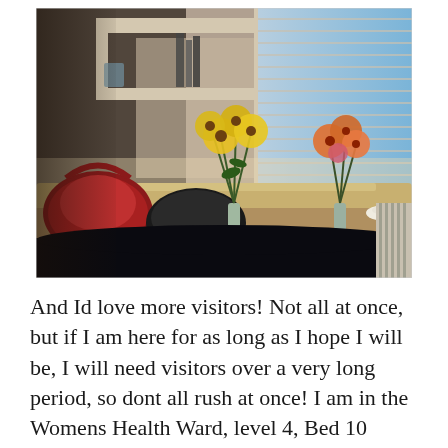[Figure (photo): Hospital room photo showing a curved bedside table/counter with a red handbag, black bag, and two vases of flowers (yellow daisies and orange/pink flowers). A window with venetian blinds is visible in the background showing trees outside. Shelving unit visible in upper left.]
And Id love more visitors! Not all at once, but if I am here for as long as I hope I will be, I will need visitors over a very long period, so dont all rush at once! I am in the Womens Health Ward, level 4, Bed 10